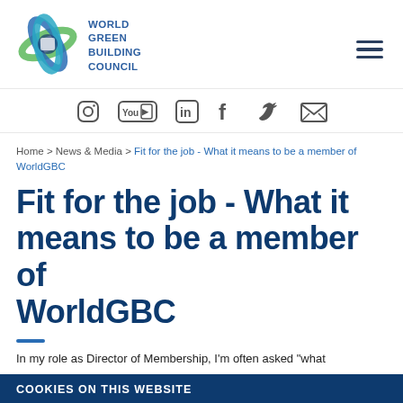WORLD GREEN BUILDING COUNCIL
[Figure (logo): World Green Building Council logo - globe made of intertwined blue, teal, and green ribbons]
[Figure (infographic): Social media icons: Instagram, YouTube, LinkedIn, Facebook, Twitter, Email]
Home > News & Media > Fit for the job - What it means to be a member of WorldGBC
Fit for the job - What it means to be a member of WorldGBC
In my role as Director of Membership, I'm often asked "what
COOKIES ON THIS WEBSITE